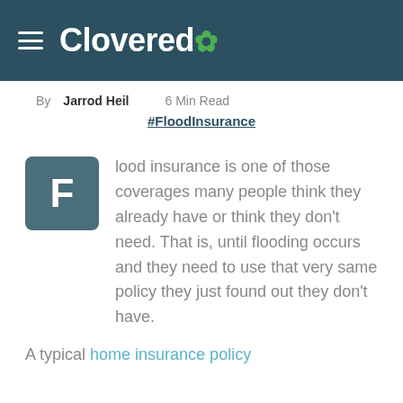Clovered
By Jarrod Heil   6 Min Read
#FloodInsurance
Flood insurance is one of those coverages many people think they already have or think they don't need. That is, until flooding occurs and they need to use that very same policy they just found out they don't have.
A typical home insurance policy